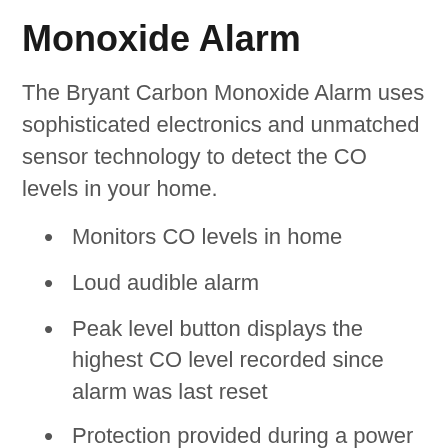Monoxide Alarm
The Bryant Carbon Monoxide Alarm uses sophisticated electronics and unmatched sensor technology to detect the CO levels in your home.
Monitors CO levels in home
Loud audible alarm
Peak level button displays the highest CO level recorded since alarm was last reset
Protection provided during a power outage by a rechargeable lithium ion battery
Plugs into any standard electrical outlet